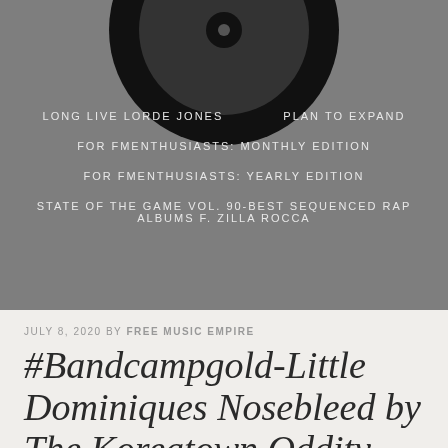[Figure (illustration): Top portion of a vinyl record shown as a black arc/semicircle against a gray background]
LONG LIVE LORDE JONES
PLAN TO EXPAND
FOR FMENTHUSIASTS: MONTHLY EDITION
FOR FMENTHUSIASTS: YEARLY EDITION
STATE OF THE GAME VOL. 90-BEST SEQUENCED RAP ALBUMS F. ZILLA ROCCA
JULY 8, 2020 BY FREE MUSIC EMPIRE
#Bandcampgold-Little Dominiques Nosebleed by The Koreatown Oddity